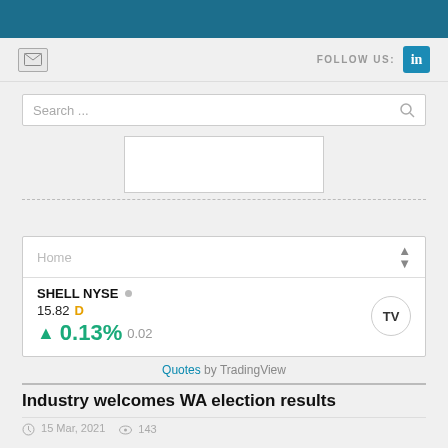[Figure (screenshot): Mail icon and FOLLOW US LinkedIn button header area]
[Figure (screenshot): Search bar with placeholder text 'Search ...' and magnifying glass icon]
[Figure (screenshot): Advertisement box placeholder]
[Figure (screenshot): SHELL NYSE stock ticker widget showing 15.82 D, up 0.13% 0.02, with TradingView logo]
Quotes by TradingView
Industry welcomes WA election results
15 Mar, 2021   143